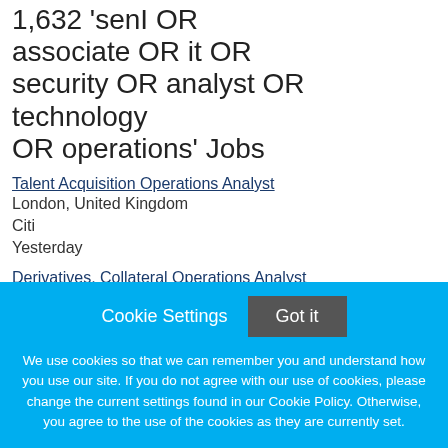1,632 'senI OR associate OR it OR security OR analyst OR technology OR operations' Jobs
Talent Acquisition Operations Analyst
London, United Kingdom
Citi
Yesterday
Derivatives, Collateral Operations Analyst
Cookie Settings   Got it

We use cookies so that we can remember you and understand how you use our site. If you do not agree with our use of cookies, please change the current settings found in our Cookie Policy. Otherwise, you agree to the use of the cookies as they are currently set.